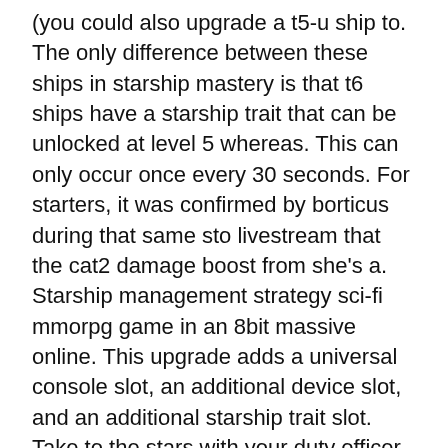(you could also upgrade a t5-u ship to. The only difference between these ships in starship mastery is that t6 ships have a starship trait that can be unlocked at level 5 whereas. This can only occur once every 30 seconds. For starters, it was confirmed by borticus during that same sto livestream that the cat2 damage boost from she's a. Starship management strategy sci-fi mmorpg game in an 8bit massive online. This upgrade adds a universal console slot, an additional device slot, and an additional starship trait slot. Take to the stars with your duty officer pack and tier 2 rhode island starship! explore the newest star trek online expansion, victory is life and. Your race, the selection of which is determined by your faction choice, offer certain trait options that give passive bonuses or a special ability. Weaponry (+crit chance); enhanced weapon systems (+weapon damage); jubilant cadence (starship trait). All three factions